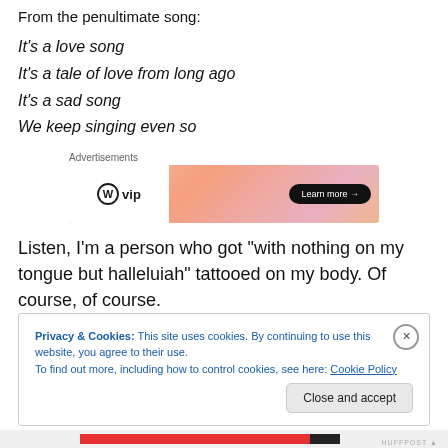From the penultimate song:
It's a love song
It's a tale of love from long ago
It's a sad song
We keep singing even so
[Figure (other): WordPress VIP advertisement banner with orange-pink gradient and Learn more button]
Listen, I'm a person who got “with nothing on my tongue but halleluiah” tattooed on my body. Of course, of course.
Privacy & Cookies: This site uses cookies. By continuing to use this website, you agree to their use.
To find out more, including how to control cookies, see here: Cookie Policy